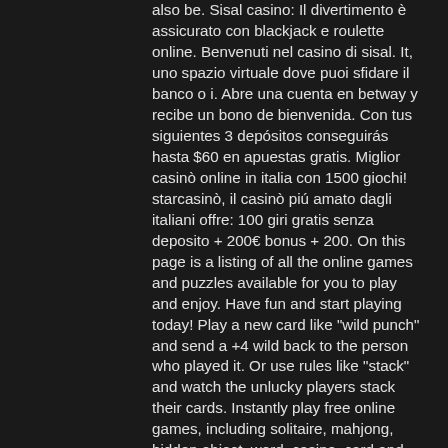also be. Sisal casino: Il divertimento è assicurato con blackjack e roulette online. Benvenuti nel casino di sisal. It, uno spazio virtuale dove puoi sfidare il banco o i. Abre una cuenta en betway y recibe un bono de bienvenida. Con tus siguientes 3 depósitos conseguirás hasta $60 en apuestas gratis. Miglior casinò online in italia con 1500 giochi! starcasinò, il casinò piú amato dagli italiani offre: 100 giri gratis senza deposito + 200€ bonus + 200. On this page is a listing of all the online games and puzzles available for you to play and enjoy. Have fun and start playing today! Play a new card like &quot;wild punch&quot; and send a +4 wild back to the person who played it. Or use rules like &quot;stack&quot; and watch the unlucky players stack their cards. Instantly play free online games, including solitaire, mahjong, hidden object, word, casino, card and puzzle games. Play on your computer, tablet or phone